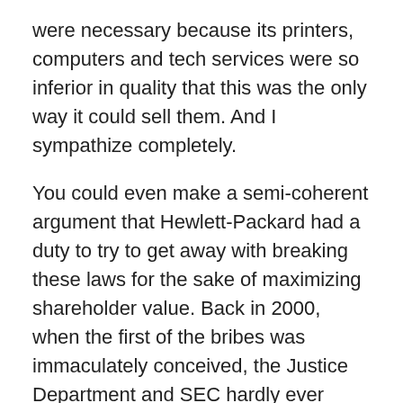were necessary because its printers, computers and tech services were so inferior in quality that this was the only way it could sell them. And I sympathize completely.
You could even make a semi-coherent argument that Hewlett-Packard had a duty to try to get away with breaking these laws for the sake of maximizing shareholder value. Back in 2000, when the first of the bribes was immaculately conceived, the Justice Department and SEC hardly ever enforced the Foreign Corrupt Practices Act. But then they started enforcing it again. So, practically speaking, it became illegal again to bribe corrupt government officials in Russia, Poland and Mexico. Hewlett-Packard found itself on the wrong side of the thin blue line.
Truth be told, the company's biggest mistake was not